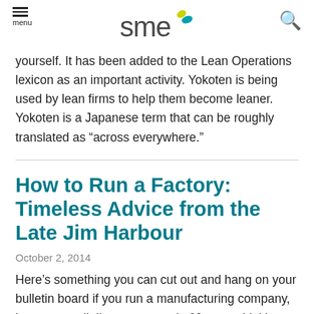menu | sme logo | search
yourself. It has been added to the Lean Operations lexicon as an important activity. Yokoten is being used by lean firms to help them become leaner. Yokoten is a Japanese term that can be roughly translated as “across everywhere.”
How to Run a Factory: Timeless Advice from the Late Jim Harbour
October 2, 2014
Here’s something you can cut out and hang on your bulletin board if you run a manufacturing company, large or small. I’ve spent nearly 60 years thinking about the factory floor, and here’s how I believe it should be run.